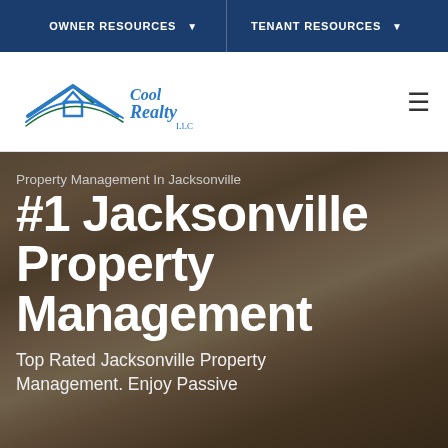OWNER RESOURCES ▾   TENANT RESOURCES ▾
[Figure (logo): Cool Realty LLC logo with house roof graphic in blue and green]
Property Management In Jacksonville
#1 Jacksonville Property Management
Top Rated Jacksonville Property Management. Enjoy Passive